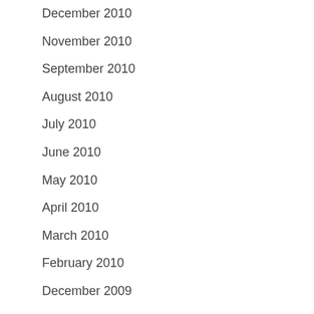December 2010
November 2010
September 2010
August 2010
July 2010
June 2010
May 2010
April 2010
March 2010
February 2010
December 2009
November 2009